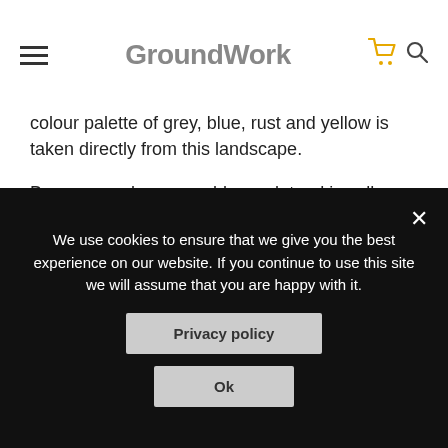GroundWork
colour palette of grey, blue, rust and yellow is taken directly from this landscape.
Bronwen makes wearable, sculptural jewellery from repurposed and recycled industrial plastics. She imbues these soulless materials with character by working their surfaces till their colours soften and they feel natural in the hand.
The shapes she uses reference those worn by the sea and allude to the fact that these ubiquitous and non-biodegradable materials will be sadly washing up on our beaches for many years to come.
We use cookies to ensure that we give you the best experience on our website. If you continue to use this site we will assume that you are happy with it.  Privacy policy  Ok